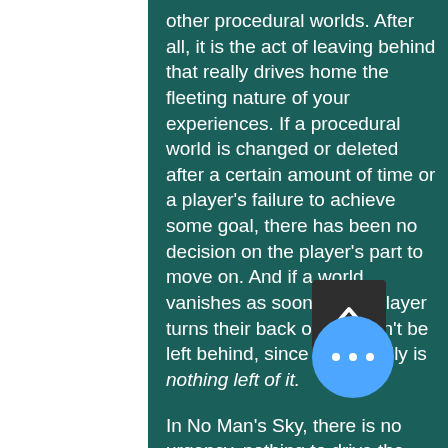other procedural worlds. After all, it is the act of leaving behind that really drives home the fleeting nature of your experiences. If a procedural world is changed or deleted after a certain amount of time or a player's failure to achieve some goal, there has been no decision on the player's part to move on. And if a world vanishes as soon as the player turns their back on it, it can't be left behind, since there really is nothing left of it.

In No Man's Sky, there is no urgency, nothing to drive the player onwards but their own curiosity (or greed, but more about that later). They can remain on a planet for minutes or for hours, but ultimately it is their decision to turn their